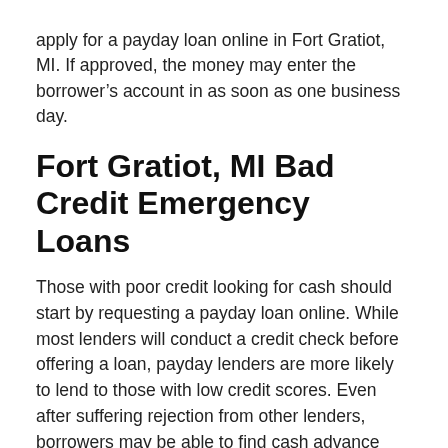apply for a payday loan online in Fort Gratiot, MI. If approved, the money may enter the borrower’s account in as soon as one business day.
Fort Gratiot, MI Bad Credit Emergency Loans
Those with poor credit looking for cash should start by requesting a payday loan online. While most lenders will conduct a credit check before offering a loan, payday lenders are more likely to lend to those with low credit scores. Even after suffering rejection from other lenders, borrowers may be able to find cash advance loans online in Fort Gratiot, MI.
Lenders used to have to rely on the applicant’s credit score and report alone to make a loan decision. Thanks to recent advances in risk-assessment technologies, providers can evaluate a potential borrower’s financial